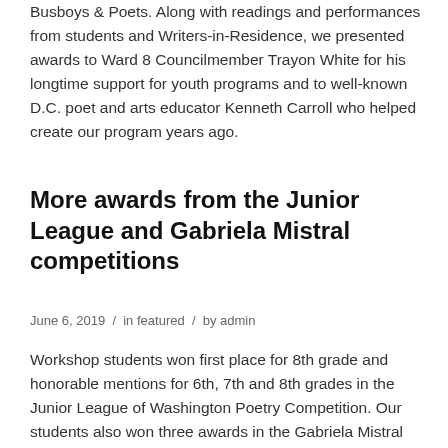Busboys & Poets. Along with readings and performances from students and Writers-in-Residence, we presented awards to Ward 8 Councilmember Trayon White for his longtime support for youth programs and to well-known D.C. poet and arts educator Kenneth Carroll who helped create our program years ago.
More awards from the Junior League and Gabriela Mistral competitions
June 6, 2019 / in featured / by admin
Workshop students won first place for 8th grade and honorable mentions for 6th, 7th and 8th grades in the Junior League of Washington Poetry Competition. Our students also won three awards in the Gabriela Mistral Youth Poetry Competition, and along for